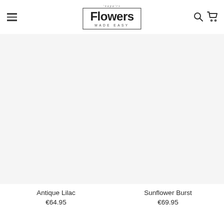[Figure (logo): Flowers Made Easy logo with stylized bold text and rectangular border, search icon and cart icon on the right, hamburger menu on the left]
[Figure (photo): Product image placeholder for Antique Lilac flower arrangement]
Antique Lilac
€64.95
[Figure (photo): Product image placeholder for Sunflower Burst flower arrangement]
Sunflower Burst
€69.95